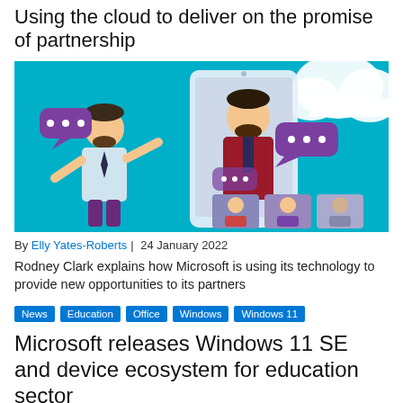Using the cloud to deliver on the promise of partnership
[Figure (illustration): Illustration of two people having a conversation with chat bubbles, plus a smartphone screen showing a video call with multiple participants, set against a teal background with clouds.]
By Elly Yates-Roberts | 24 January 2022
Rodney Clark explains how Microsoft is using its technology to provide new opportunities to its partners
News  Education  Office  Windows  Windows 11
Microsoft releases Windows 11 SE and device ecosystem for education sector